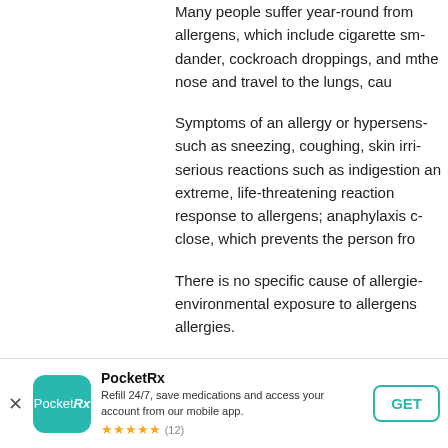Many people suffer year-round from allergens, which include cigarette sm- dander, cockroach droppings, and m- the nose and travel to the lungs, cau-
Symptoms of an allergy or hypersens- such as sneezing, coughing, skin irri- serious reactions such as indigestion an extreme, life-threatening reaction response to allergens; anaphylaxis c- close, which prevents the person fro-
There is no specific cause of allergie- environmental exposure to allergens allergies.
[Figure (other): PocketRx app banner with teal rounded icon showing 'PocketRx', app name 'PocketRx', description 'Refill 24/7, save medications and access your account from our mobile app.', 5 star rating with (12) reviews, and a GET button. A close (x) button is on the left.]